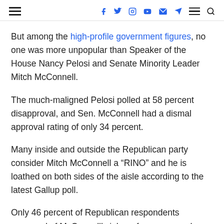Navigation and social media icons header
But among the high-profile government figures, no one was more unpopular than Speaker of the House Nancy Pelosi and Senate Minority Leader Mitch McConnell.
The much-maligned Pelosi polled at 58 percent disapproval, and Sen. McConnell had a dismal approval rating of only 34 percent.
Many inside and outside the Republican party consider Mitch McConnell a “RINO” and he is loathed on both sides of the aisle according to the latest Gallup poll.
Only 46 percent of Republican respondents approved of McConnell’s job performance, and unsurprisingly, 75 percent of Democrats and 64 percent of Independents